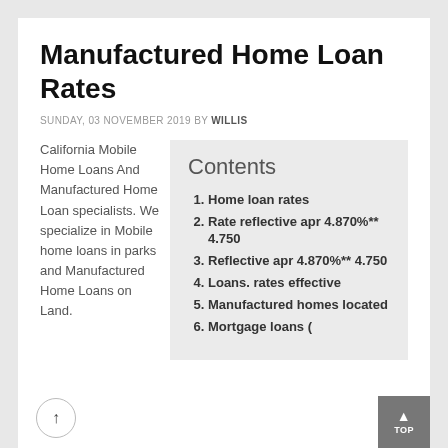Manufactured Home Loan Rates
SUNDAY, 03 NOVEMBER 2019 BY WILLIS
California Mobile Home Loans And Manufactured Home Loan specialists. We specialize in Mobile home loans in parks and Manufactured Home Loans on Land.
Contents
Home loan rates
Rate reflective apr 4.870%** 4.750
Reflective apr 4.870%** 4.750
Loans. rates effective
Manufactured homes located
Mortgage loans (